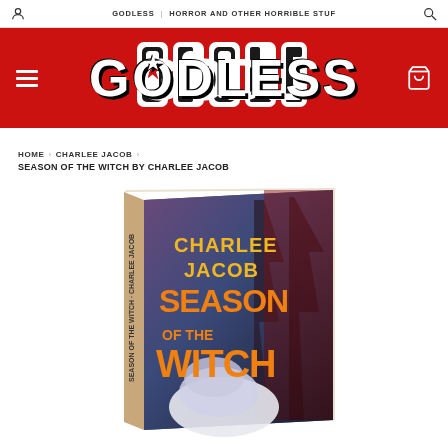GODLESS | HORROR AND OTHER HORRIBLE STUF
[Figure (logo): GODLESS logo in white blocky letters with red star on dark background, displayed on a red banner]
HOME › CHARLEE JACOB ›
SEASON OF THE WITCH BY CHARLEE JACOB
[Figure (photo): Hardcover book titled 'Season of the Witch' by Charlee Jacob, showing a horror cover with dark imagery and a ghostly white figure at the bottom. The book is displayed at an angle.]